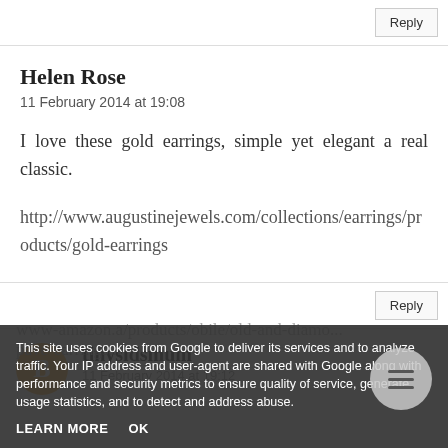Reply
Helen Rose
11 February 2014 at 19:08
I love these gold earrings, simple yet elegant a real classic.
http://www.augustinejewels.com/collections/earrings/products/gold-earrings
Reply
tinysidsmum
11 February 2014 at 19:12
This site uses cookies from Google to deliver its services and to analyze traffic. Your IP address and user-agent are shared with Google along with performance and security metrics to ensure quality of service, generate usage statistics, and to detect and address abuse.
LEARN MORE
OK